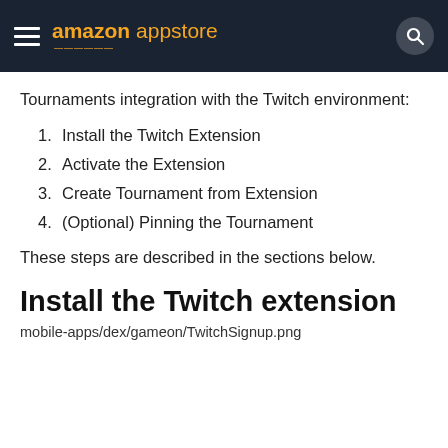amazon appstore
Tournaments integration with the Twitch environment:
1. Install the Twitch Extension
2. Activate the Extension
3. Create Tournament from Extension
4. (Optional) Pinning the Tournament
These steps are described in the sections below.
Install the Twitch extension
mobile-apps/dex/gameon/TwitchSignup.png